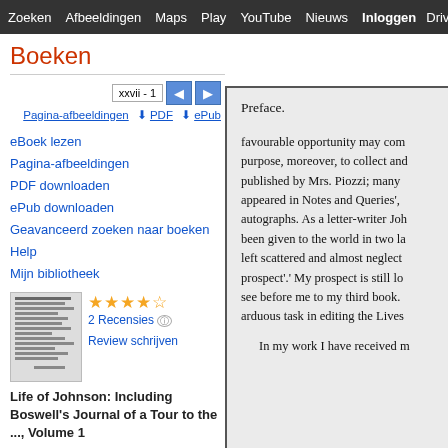Zoeken Afbeeldingen Maps Play YouTube Nieuws Inloggen Drive M
Boeken
xxvii - 1
Pagina-afbeeldingen  PDF  ePub
eBoek lezen
Pagina-afbeeldingen
PDF downloaden
ePub downloaden
Geavanceerd zoeken naar boeken
Help
Mijn bibliotheek
2 Recensies
Review schrijven
Life of Johnson: Including Boswell's Journal of a Tour to the ..., Volume 1
[Figure (screenshot): Book thumbnail showing table of contents page]
Preface.

favourable opportunity may com purpose, moreover, to collect and published by Mrs. Piozzi; many appeared in Notes and Queries', autographs. As a letter-writer Joh been given to the world in two la left scattered and almost neglect prospect'. My prospect is still lo see before me to my third book. arduous task in editing the Lives

In my work I have received m